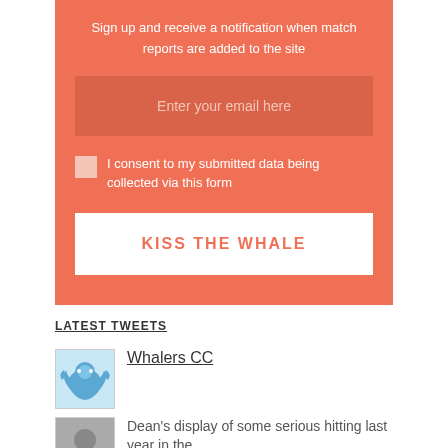Sign up and receive a notification when match reports are added to the site
Enter your email here
I consent to my submitted data being collected via this form
KISS THE WHALE
LATEST TWEETS
Whalers CC
Dean's display of some serious hitting last year in the